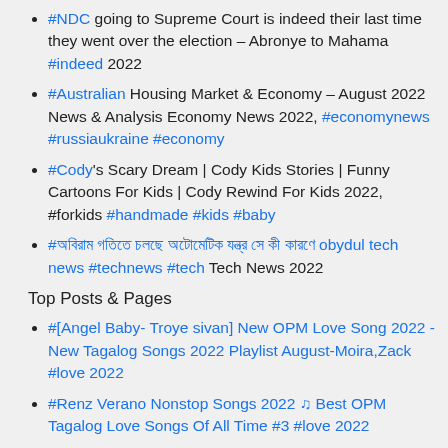#NDC going to Supreme Court is indeed their last time they went over the election – Abronye to Mahama #indeed 2022
#Australian Housing Market & Economy – August 2022 News & Analysis Economy News 2022, #economynews #russiaukraine #economy
#Cody's Scary Dream | Cody Kids Stories | Funny Cartoons For Kids | Cody Rewind For Kids 2022, #forkids #handmade #kids #baby
#অবিরাম গতিতে চলছে অটোমেটিক যন্ত্র সে কী কারণে obydul tech news #technews #tech Tech News 2022
Top Posts & Pages
#[Angel Baby- Troye sivan] New OPM Love Song 2022 - New Tagalog Songs 2022 Playlist August-Moira,Zack #love 2022
#Renz Verano Nonstop Songs 2022 ♫ Best OPM Tagalog Love Songs Of All Time #3 #love 2022
Best Money Earning App - Earn Money From NGR